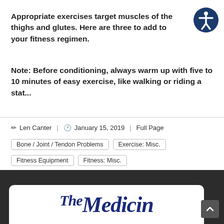Appropriate exercises target muscles of the thighs and glutes. Here are three to add to your fitness regimen.
Note: Before conditioning, always warm up with five to 10 minutes of easy exercise, like walking or riding a stat...
✏ Len Canter  |  🕐 January 15, 2019  |  Full Page
Bone / Joint / Tendon Problems
Exercise: Misc.
Fitness Equipment
Fitness: Misc.
[Figure (logo): The Medicine Net logo - italic serif font in dark blue on white background, partially visible at bottom of page]